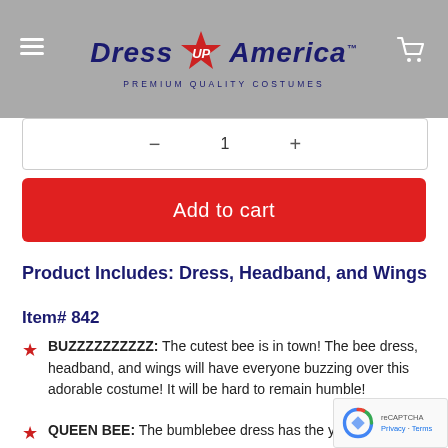[Figure (logo): Dress Up America logo with red star and tagline PREMIUM QUALITY COSTUMES on gray header bar]
Add to cart
Product Includes: Dress, Headband, and Wings
Item# 842
BUZZZZZZZZZZ: The cutest bee is in town! The bee dress, headband, and wings will have everyone buzzing over this adorable costume! It will be hard to remain humble!
QUEEN BEE: The bumblebee dress has the ye and black stripes, and the bottom is a layere black mesh skirt with yellow edging. On the bottom